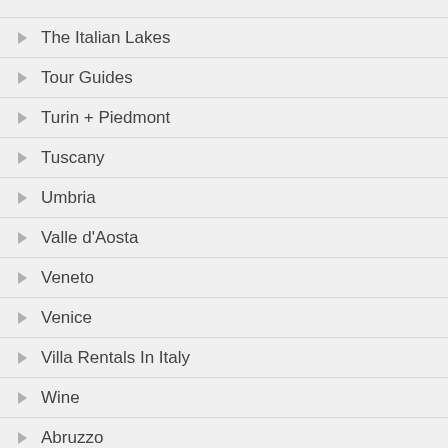The Italian Lakes
Tour Guides
Turin + Piedmont
Tuscany
Umbria
Valle d'Aosta
Veneto
Venice
Villa Rentals In Italy
Wine
Abruzzo